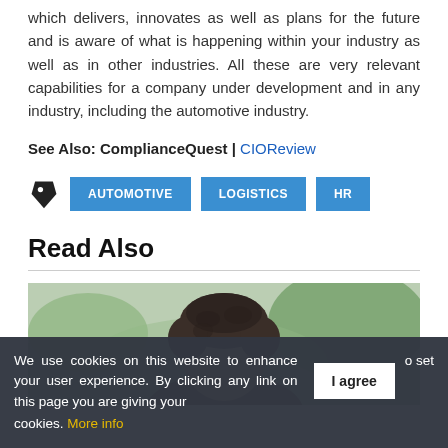which delivers, innovates as well as plans for the future and is aware of what is happening within your industry as well as in other industries. All these are very relevant capabilities for a company under development and in any industry, including the automotive industry.
See Also: ComplianceQuest | CIOReview
AUTOMOTIVE  LOGISTICS  HR
Read Also
[Figure (photo): Photo of a person with dark curly hair, blurred background with green tones]
We use cookies on this website to enhance your user experience. By clicking any link on this page you are giving your consent for us to set cookies. More info